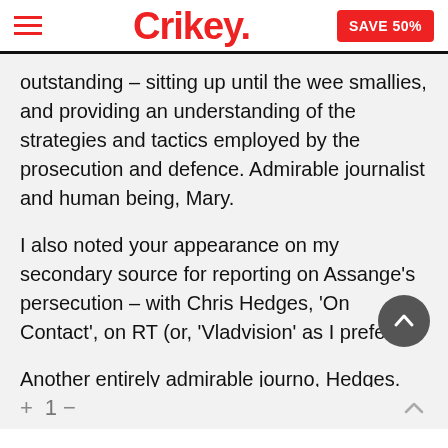Crikey. | SAVE 50%
outstanding – sitting up until the wee smallies, and providing an understanding of the strategies and tactics employed by the prosecution and defence. Admirable journalist and human being, Mary.
I also noted your appearance on my secondary source for reporting on Assange's persecution – with Chris Hedges, 'On Contact', on RT (or, 'Vladvision' as I prefer).
Another entirely admirable journo, Hedges. And, he too was cast from the mainstream for 'non-compliance'.
+ 1 −